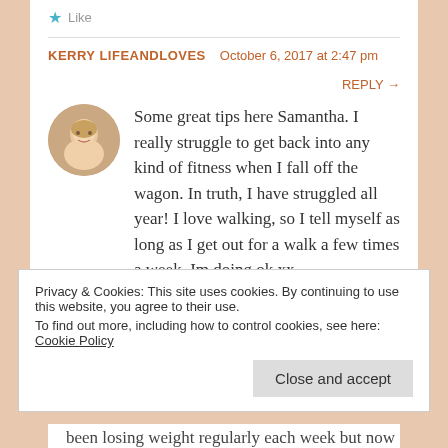★ Like
KERRY LIFEANDLOVES  October 6, 2017 at 2:47 pm  REPLY →
[Figure (photo): Circular avatar photo of a woman with blonde hair]
Some great tips here Samantha. I really struggle to get back into any kind of fitness when I fall off the wagon. In truth, I have struggled all year! I love walking, so I tell myself as long as I get out for a walk a few times a week, Im doing ok xx.
★ Like
Privacy & Cookies: This site uses cookies. By continuing to use this website, you agree to their use. To find out more, including how to control cookies, see here: Cookie Policy
Close and accept
been losing weight regularly each week but now